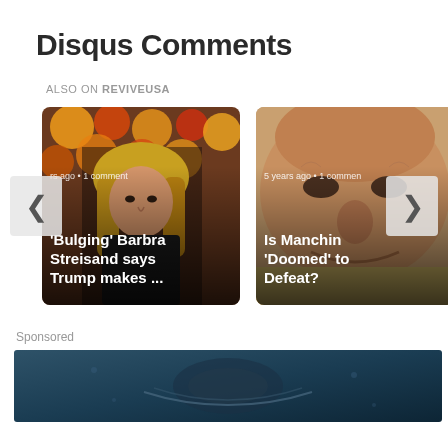Disqus Comments
ALSO ON REVIVEUSA
[Figure (screenshot): Two article cards in a Disqus carousel. Left card: blonde woman (Barbara Streisand) against colorful flower background, text reads 'rs ago • 1 comment' and '‘Bulging’ Barbra Streisand says Trump makes ...'. Right card: older man smiling, text reads '5 years ago • 1 commen' and 'Is Manchin ‘Doomed’ to Defeat?'. Navigation arrows on left and right sides.]
Sponsored
[Figure (photo): Sponsored image showing a dark teal/steel blue background with what appears to be a watch or accessory]